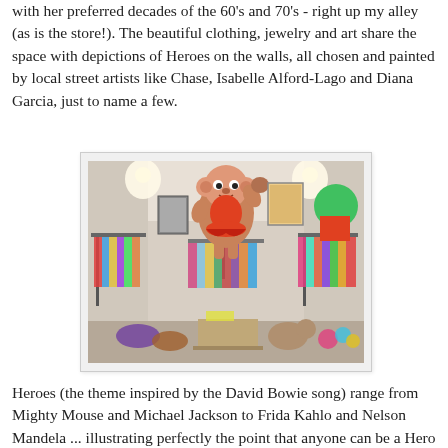with her preferred decades of the 60's and 70's - right up my alley (as is the store!). The beautiful clothing, jewelry and art share the space with depictions of Heroes on the walls, all chosen and painted by local street artists like Chase, Isabelle Alford-Lago and Diana Garcia, just to name a few.
[Figure (photo): Interior of a vintage clothing store with clothing racks on both sides, a cartoon mural of Mighty Mouse painted on the wall in the center, and other heroic character art on the walls.]
Heroes (the theme inspired by the David Bowie song) range from Mighty Mouse and Michael Jackson to Frida Kahlo and Nelson Mandela ... illustrating perfectly the point that anyone can be a Hero to anyone else. Each of these heroic designs will be showing up in Shearer's In Heroes We Trust t-shirt